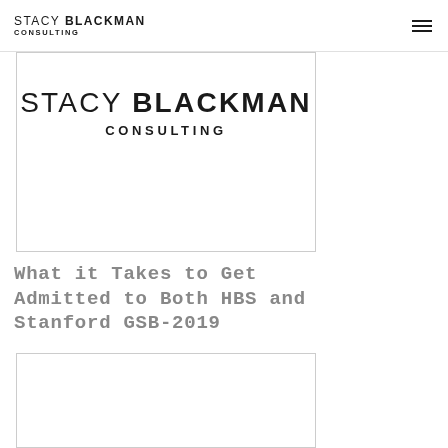STACY BLACKMAN CONSULTING
[Figure (logo): Stacy Blackman Consulting logo in a bordered card — text reads STACY BLACKMAN in large letters with CONSULTING below]
What it Takes to Get Admitted to Both HBS and Stanford GSB-2019
[Figure (photo): Second article thumbnail image card, partially visible, white background with border]